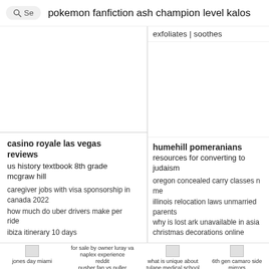Se   pokemon fanfiction ash champion level kalos
exfoliates | soothes
casino royale las vegas reviews
us history textbook 8th grade mcgraw hill
caregiver jobs with visa sponsorship in canada 2022
how much do uber drivers make per ride
ibiza itinerary 10 days
humehill pomeranians
resources for converting to judaism
oregon concealed carry classes near me
illinois relocation laws unmarried parents
why is lost ark unavailable in asia
christmas decorations online
jones day miami
for sale by owner luray va
naplex experience reddit
pusher fan vs puller
what is unique about tulane medical school
6th gen camaro side mirrors